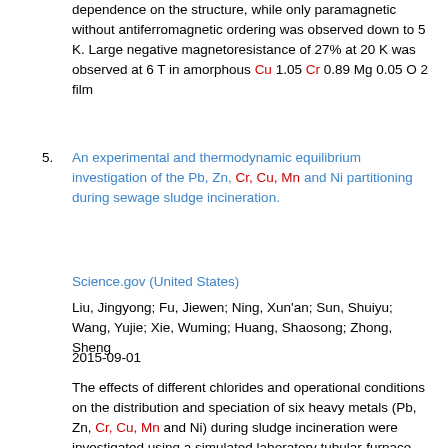dependence on the structure, while only paramagnetic without antiferromagnetic ordering was observed down to 5 K. Large negative magnetoresistance of 27% at 20 K was observed at 6 T in amorphous Cu 1.05 Cr 0.89 Mg 0.05 O 2 film
5. An experimental and thermodynamic equilibrium investigation of the Pb, Zn, Cr, Cu, Mn and Ni partitioning during sewage sludge incineration.
Science.gov (United States)
Liu, Jingyong; Fu, Jiewen; Ning, Xun'an; Sun, Shuiyu; Wang, Yujie; Xie, Wuming; Huang, Shaosong; Zhong, Sheng
2015-09-01
The effects of different chlorides and operational conditions on the distribution and speciation of six heavy metals (Pb, Zn, Cr, Cu, Mn and Ni) during sludge incineration were investigated using a simulated laboratory tubular-furnace reactor. A thermodynamic equilibrium investigation using the FactSage software was performed to compare the experimental results. The results indicate that the volatility of the target metals was enhanced as the chlorine concentration increased. Inorganic Cl